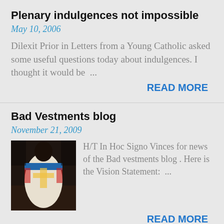Plenary indulgences not impossible
May 10, 2006
Dilexit Prior in Letters from a Young Catholic asked some useful questions today about indulgences. I thought it would be ...
READ MORE
Bad Vestments blog
November 21, 2009
[Figure (photo): Photo of a person wearing colorful liturgical vestments, seen from behind, in a dark setting.]
H/T In Hoc Signo Vinces for news of the Bad vestments blog . Here is the Vision Statement: ...
READ MORE